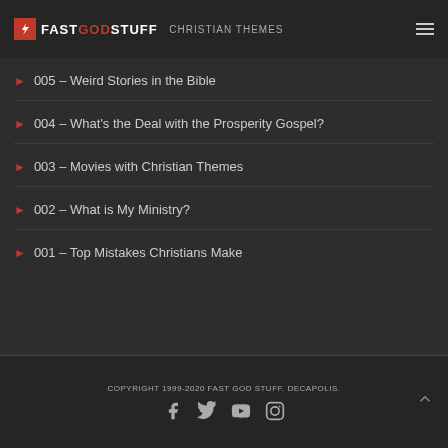FASTGODSTUFF
005 – Weird Stories in the Bible
004 – What's the Deal with the Prosperity Gospel?
003 – Movies with Christian Themes
002 – What is My Ministry?
001 – Top Mistakes Christians Make
COPYRIGHT 1999-2020 FAST GOD STUFF. DECAPOLIS.